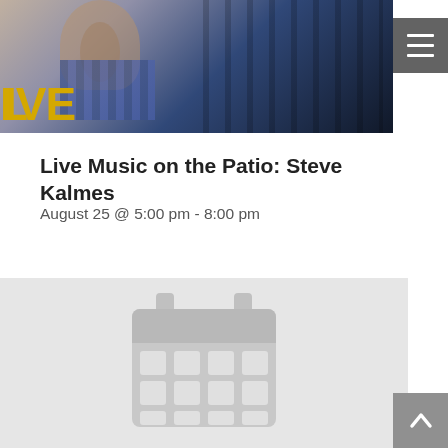[Figure (photo): Hero image showing a live music event on a patio, with yellow 'LIVE' text overlay at bottom left and a hamburger menu icon at top right]
Live Music on the Patio: Steve Kalmes
August 25 @ 5:00 pm - 8:00 pm
[Figure (illustration): Large grey calendar icon on a light grey background, representing an event placeholder image]